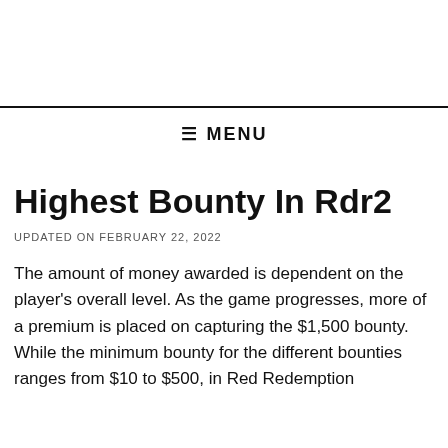☰ MENU
Highest Bounty In Rdr2
UPDATED ON FEBRUARY 22, 2022
The amount of money awarded is dependent on the player's overall level. As the game progresses, more of a premium is placed on capturing the $1,500 bounty. While the minimum bounty for the different bounties ranges from $10 to $500, in Red Redemption